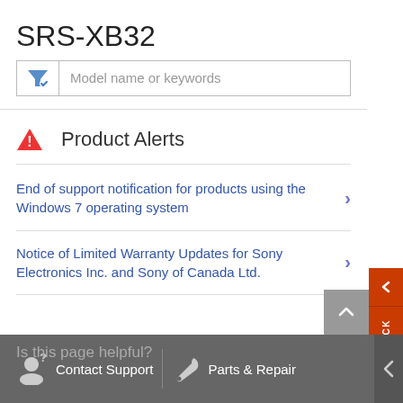SRS-XB32
[Figure (screenshot): Search/filter input box with funnel icon and placeholder text 'Model name or keywords']
Product Alerts
End of support notification for products using the Windows 7 operating system
Notice of Limited Warranty Updates for Sony Electronics Inc. and Sony of Canada Ltd.
Contact Support   Parts & Repair